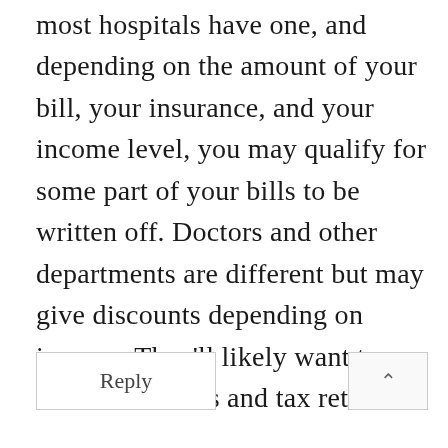most hospitals have one, and depending on the amount of your bill, your insurance, and your income level, you may qualify for some part of your bills to be written off. Doctors and other departments are different but may give discounts depending on income. They'll likely want to see bank statements and tax returns.
Reply